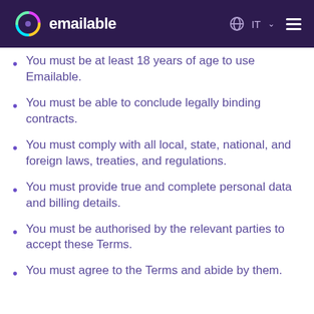emailable IT
You must be at least 18 years of age to use Emailable.
You must be able to conclude legally binding contracts.
You must comply with all local, state, national, and foreign laws, treaties, and regulations.
You must provide true and complete personal data and billing details.
You must be authorised by the relevant parties to accept these Terms.
You must agree to the Terms and abide by them.